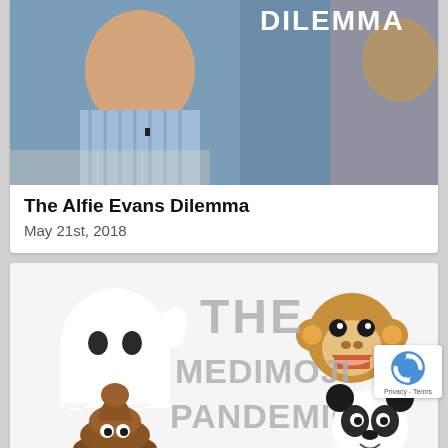[Figure (photo): Two men sitting across from each other in a TV interview setting. Text overlay 'DILEMMA' visible in upper right corner. One man wearing a blue striped shirt.]
The Alfie Evans Dilemma
May 21st, 2018
[Figure (photo): Thumbnail image showing ghost emoji, monkey emoji, poop emoji, panda emoji arranged around large grey block text reading 'THE MEDIMOJI PANDEMIC']
The Medimoji Pandemic
April 9th, 2020